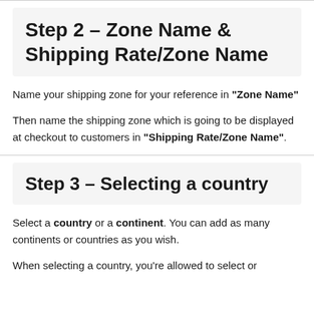Step 2 – Zone Name & Shipping Rate/Zone Name
Name your shipping zone for your reference in "Zone Name"
Then name the shipping zone which is going to be displayed at checkout to customers in "Shipping Rate/Zone Name".
Step 3 – Selecting a country
Select a country or a continent. You can add as many continents or countries as you wish.
When selecting a country, you're allowed to select or